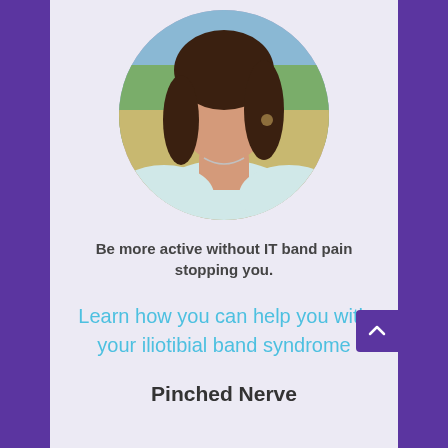[Figure (photo): Circular portrait photo of a young woman with dark hair, wearing a white off-shoulder top with necklace, outdoors with blurred green/yellow background.]
Be more active without IT band pain stopping you.
Learn how you can help you with your iliotibial band syndrome
Pinched Nerve